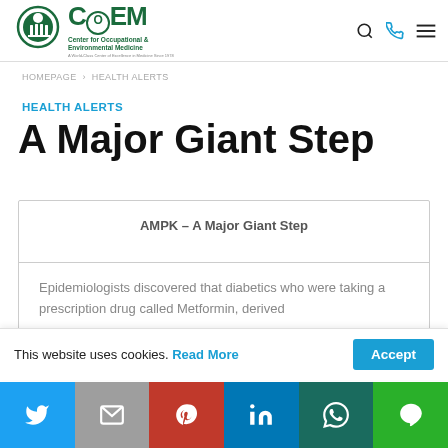[Figure (logo): Center for Occupational & Environmental Medicine logo with green text and circular emblem]
HOMEPAGE › HEALTH ALERTS
HEALTH ALERTS
A Major Giant Step
| AMPK – A Major Giant Step |
| Epidemiologists discovered that diabetics who were taking a prescription drug called Metformin, derived |
This website uses cookies. Read More Accept